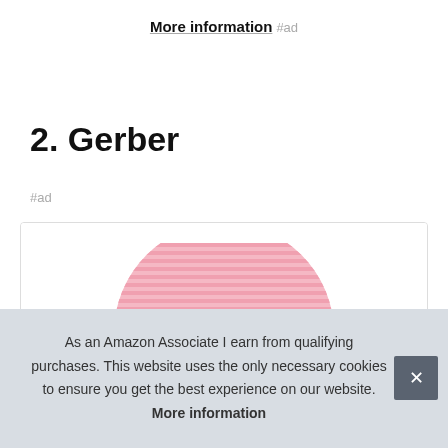More information #ad
2. Gerber
#ad
[Figure (photo): Product image of a pink striped baby hat inside a white product card with border]
As an Amazon Associate I earn from qualifying purchases. This website uses the only necessary cookies to ensure you get the best experience on our website. More information